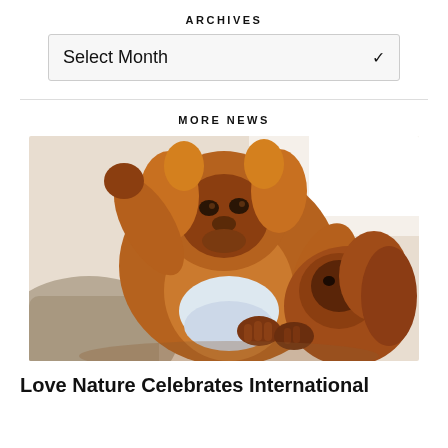ARCHIVES
Select Month
MORE NEWS
[Figure (photo): Two baby orangutans with reddish-brown fur; one larger orangutan faces the camera while a smaller one reaches out touching the larger one's hand. A person in khaki clothing holds them.]
Love Nature Celebrates International